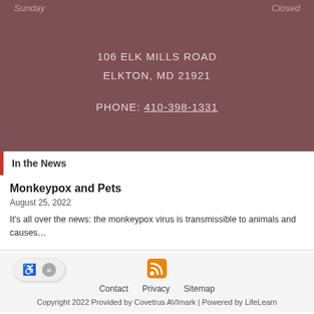Sunday   Closed
106 ELK MILLS ROAD
ELKTON, MD 21921
PHONE: 410-398-1331
In the News
Monkeypox and Pets
August 25, 2022
It's all over the news: the monkeypox virus is transmissible to animals and causes…
Contact   Privacy   Sitemap
Copyright 2022 Provided by Covetrus AVImark | Powered by LifeLearn